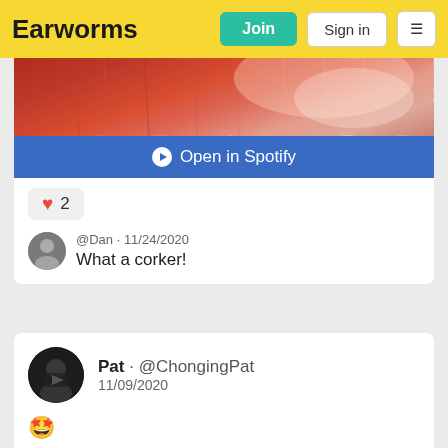Earworms
[Figure (screenshot): Orange/red textured image, partial view of album art]
Open in Spotify
❤ 2
@Dan · 11/24/2020
What a corker!
Pat · @ChongingPat
11/09/2020
🤩
Bounce